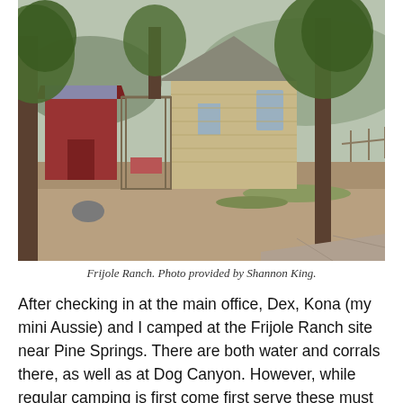[Figure (photo): Outdoor photograph of Frijole Ranch showing a stone building with a gabled roof, large trees, a red shed structure on the left, dry gravel ground with sparse grass, and a flagstone path on the lower right. A dog is visible in the foreground left.]
Frijole Ranch. Photo provided by Shannon King.
After checking in at the main office, Dex, Kona (my mini Aussie) and I camped at the Frijole Ranch site near Pine Springs. There are both water and corrals there, as well as at Dog Canyon. However, while regular camping is first come first serve these must be reserved in advance. You can find instructions to reserve horse camping using the links above. Lots of Texas ranching history and